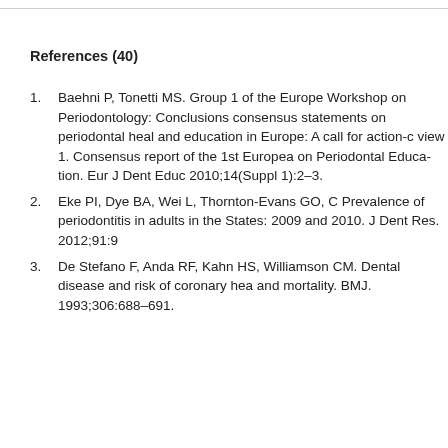References (40)
Baehni P, Tonetti MS. Group 1 of the European Workshop on Periodontology: Conclusions and consensus statements on periodontal health and education in Europe: A call for action-overview 1. Consensus report of the 1st European on Periodontal Educa-tion. Eur J Dent Educ. 2010;14(Suppl 1):2–3.
Eke PI, Dye BA, Wei L, Thornton-Evans GO, C. Prevalence of periodontitis in adults in the United States: 2009 and 2010. J Dent Res. 2012;91:9
De Stefano F, Anda RF, Kahn HS, Williamson CM. Dental disease and risk of coronary heart and mortality. BMJ. 1993;306:688–691.